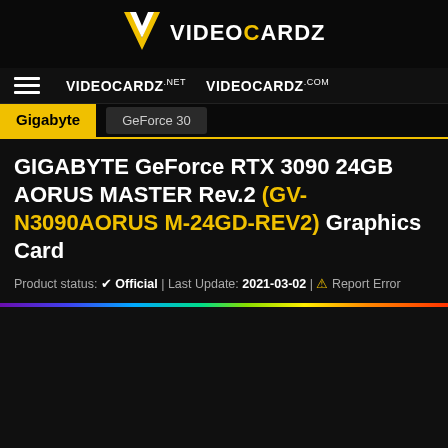VideoCardz
VIDEOCARDZ.NET   VIDEOCARDZ.COM
Gigabyte   GeForce 30
GIGABYTE GeForce RTX 3090 24GB AORUS MASTER Rev.2 (GV-N3090AORUS M-24GD-REV2) Graphics Card
Product status: ✔ Official | Last Update: 2021-03-02 | ⚠ Report Error